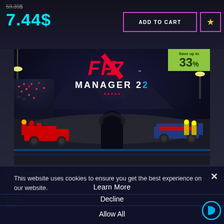59.39$
7.44$
ADD TO CART
[Figure (screenshot): F1 Manager 2022 game promotional image showing an F1 race pit lane scene at night with red Ferrari cars and a person with headphones viewed from behind, with a 'Save up to 33%' green badge]
Save up to 33%
This website uses cookies to ensure you get the best experience on our website.
F1® Manager 2022
Learn More
Decline
Allow All